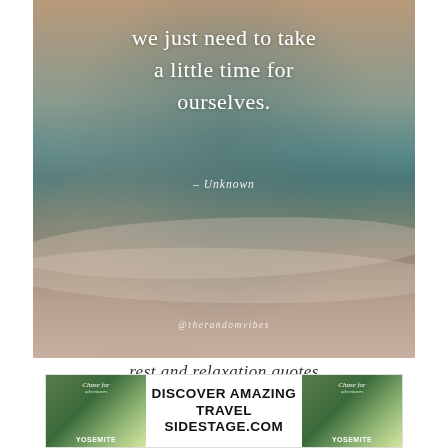[Figure (photo): Beach scene with ocean waves and sand, overlaid with a motivational quote in white text: 'we just need to take a little time for ourselves.' with attribution '– Unknown' and handle '@therandomvibes']
rest and relaxation quotes
[Figure (infographic): Advertisement banner: 'DISCOVER AMAZING TRAVEL SIDESTAGE.COM' with mountain/nature images on either side showing Yosemite scenes with a logo.]